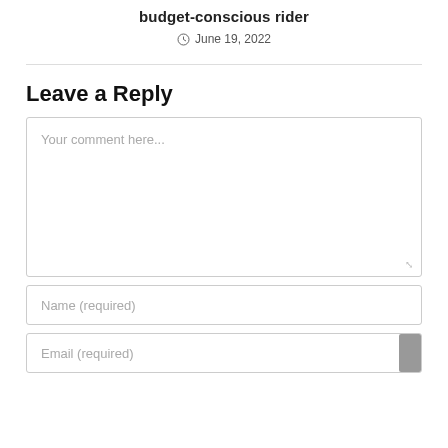budget-conscious rider
June 19, 2022
Leave a Reply
Your comment here...
Name (required)
Email (required)